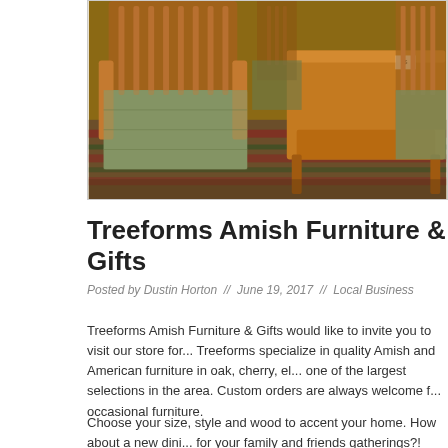[Figure (photo): Interior of a furniture store showing wooden rocking chairs with green cushioned seats and a square wooden coffee table on a patterned rug]
Treeforms Amish Furniture & Gifts
Posted by Dustin Horton  //  June 19, 2017  //  Local Business
Treeforms Amish Furniture & Gifts would like to invite you to visit our store for... Treeforms specialize in quality Amish and American furniture in oak, cherry, el... one of the largest selections in the area. Custom orders are always welcome f... occasional furniture.
Choose your size, style and wood to accent your home. How about a new dini... for your family and friends gatherings?! Available in a variety of styles of wood...